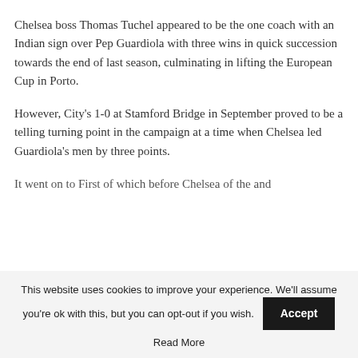Chelsea boss Thomas Tuchel appeared to be the one coach with an Indian sign over Pep Guardiola with three wins in quick succession towards the end of last season, culminating in lifting the European Cup in Porto.
However, City's 1-0 at Stamford Bridge in September proved to be a telling turning point in the campaign at a time when Chelsea led Guardiola's men by three points.
It went on to First of which before Chelsea of the and...
This website uses cookies to improve your experience. We'll assume you're ok with this, but you can opt-out if you wish. Accept Read More